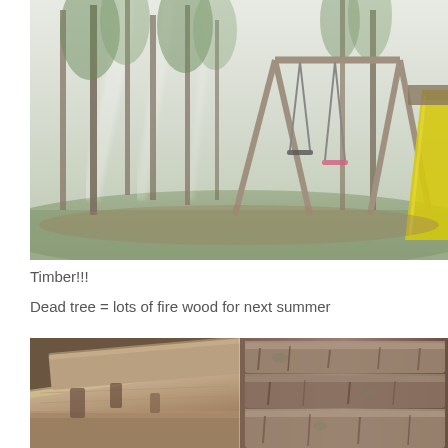[Figure (photo): Outdoor backyard scene with tall pine trees, misty light filtering through, and a wooden swing set with a yellow slide on the right side.]
Timber!!!
Dead tree = lots of fire wood for next summer
[Figure (photo): Close-up photograph of stacked cut firewood logs showing bark texture and wood grain.]